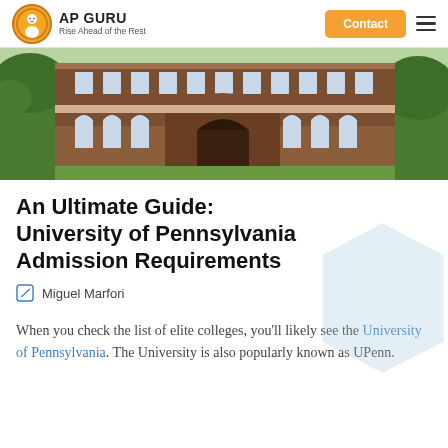AP GURU – Rise Ahead of the Rest
[Figure (photo): Exterior photograph of a brick university building with arched windows and green trees]
An Ultimate Guide: University of Pennsylvania Admission Requirements
Miguel Marfori
When you check the list of elite colleges, you'll likely see the University of Pennsylvania. The University is also popularly known as UPenn.